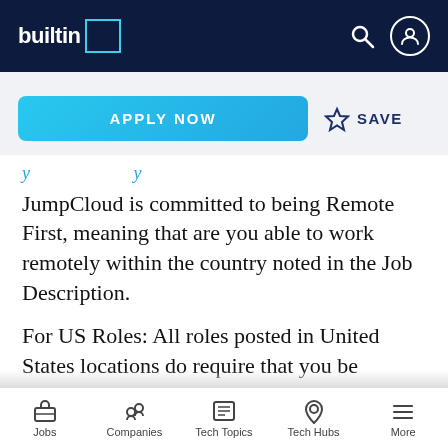builtin [logo] — navigation header with search and profile icons
[Figure (screenshot): APPLY NOW button (blue) and SAVE link with star icon]
JumpCloud is committed to being Remote First, meaning that are you able to work remotely within the country noted in the Job Description.
For US Roles: All roles posted in United States locations do require that you be located within one of the 50 U.S. States. Our Headquarters is in the Denver/Boulder, CO area but as a remote
Jobs | Companies | Tech Topics | Tech Hubs | More